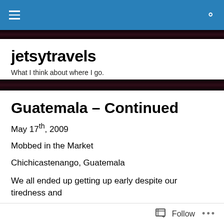jetsytravels navigation bar
jetsytravels
What I think about where I go.
Guatemala – Continued
May 17th, 2009
Mobbed in the Market
Chichicastenango, Guatemala
We all ended up getting up early despite our tiredness and
Follow